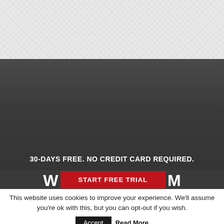[Figure (screenshot): Top light gray textured area, part of a website background]
[Figure (screenshot): Dark gray website section with promotional content]
30-DAYS FREE. NO CREDIT CARD REQUIRED.
[Figure (screenshot): Bottom bar showing partial letters W and M flanking a red START FREE TRIAL button]
This website uses cookies to improve your experience. We'll assume you're ok with this, but you can opt-out if you wish.
Accept
Read More